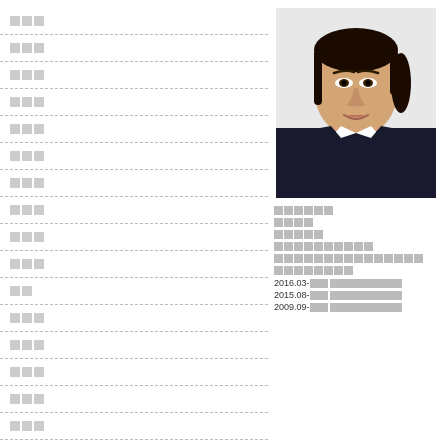[Figure (photo): Headshot of an East Asian woman in a dark blazer, with long dark hair, smiling slightly, professional ID photo style]
██████
████
█████
██████████
███████████████
████████
2016.03-至今 █████████
2015.08-至今 █████████
2009.09-至今 █████████